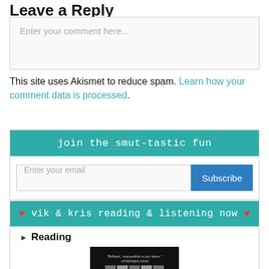Leave a Reply
Enter your comment here...
This site uses Akismet to reduce spam. Learn how your comment data is processed.
join the smut-tastic fun
Enter your email
Subscribe
❤ vik & kris reading & listening now ❤
Reading
[Figure (photo): Book cover with dark background and 'Brilliant...impossible to put down.' - Stephen King quote]